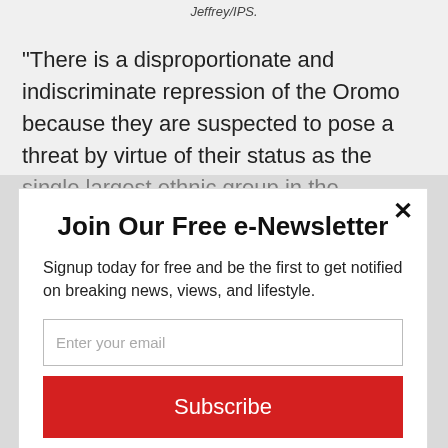Jeffrey/IPS.
“There is a disproportionate and indiscriminate repression of the Oromo because they are suspected to pose a threat by virtue of their status as the single largest ethnic group in the country,” Allo says.
Join Our Free e-Newsletter
Signup today for free and be the first to get notified on breaking news, views, and lifestyle.
Enter your email
Subscribe
powered by MailMunch